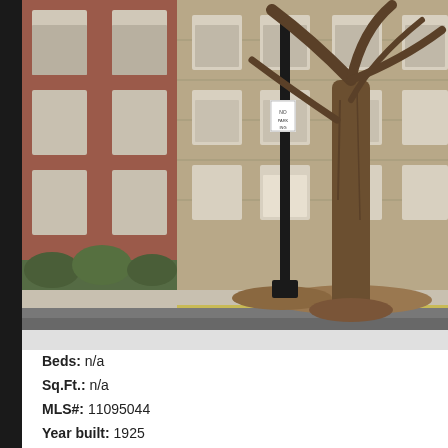[Figure (photo): Street-level photograph of a multi-story brick and stone apartment building with white-framed windows. A black lamp post with a sign stands on the sidewalk in front of the building, beside a large bare tree. The sidewalk, curb, and street are visible in the foreground.]
Beds: n/a
Sq.Ft.: n/a
MLS#: 11095044
Year built: 1925